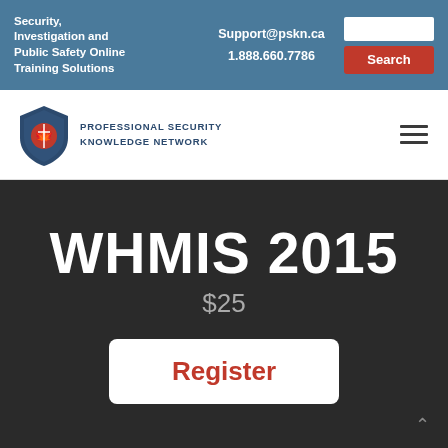Security, Investigation and Public Safety Online Training Solutions | Support@pskn.ca | 1.888.660.7786
[Figure (logo): Professional Security Knowledge Network shield logo with maple leaf and text PROFESSIONAL SECURITY KNOWLEDGE NETWORK]
WHMIS 2015
$25
Register